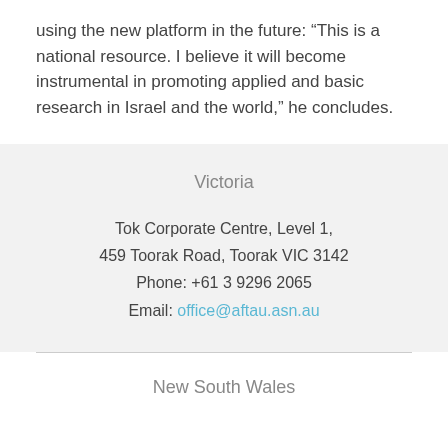using the new platform in the future: “This is a national resource. I believe it will become instrumental in promoting applied and basic research in Israel and the world,” he concludes.
Victoria
Tok Corporate Centre, Level 1,
459 Toorak Road, Toorak VIC 3142
Phone: +61 3 9296 2065
Email: office@aftau.asn.au
New South Wales